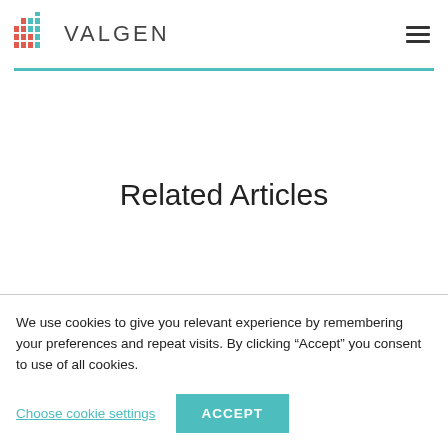VALGEN
Related Articles
We use cookies to give you relevant experience by remembering your preferences and repeat visits. By clicking “Accept” you consent to use of all cookies.
Choose cookie settings  ACCEPT